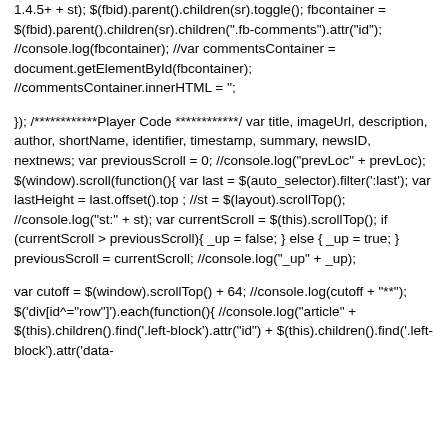1.4.5+  + st); $(fbid).parent().children(sr).toggle(); fbcontainer = $(fbid).parent().children(sr).children(".fb-comments").attr("id"); //console.log(fbcontainer); //var commentsContainer = document.getElementById(fbcontainer); //commentsContainer.innerHTML = '';
}); /************Player Code ************/ var title, imageUrl, description, author, shortName, identifier, timestamp, summary, newsID, nextnews; var previousScroll = 0; //console.log("prevLoc" + prevLoc); $(window).scroll(function(){ var last = $(auto_selector).filter(':last'); var lastHeight = last.offset().top ; //st = $(layout).scrollTop(); //console.log("st:" + st); var currentScroll = $(this).scrollTop(); if (currentScroll > previousScroll){ _up = false; } else { _up = true; } previousScroll = currentScroll; //console.log("_up" + _up);
var cutoff = $(window).scrollTop() + 64; //console.log(cutoff + "**"); $('div[id^="row"]').each(function(){ //console.log("article" + $(this).children().find('.left-block').attr("id") + $(this).children().find('.left-block').attr('data-